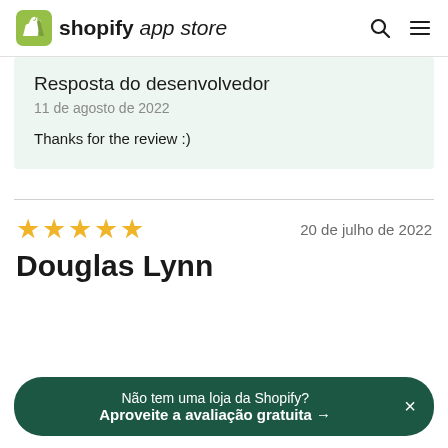shopify app store
Resposta do desenvolvedor
11 de agosto de 2022
Thanks for the review :)
20 de julho de 2022
Douglas Lynn
Não tem uma loja da Shopify? Aproveite a avaliação gratuita →